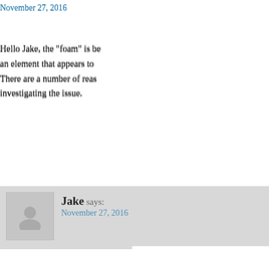November 27, 2016
Hello Jake, the "foam" is be... an element that appears to... There are a number of reas... investigating the issue.
Jake says: November 27, 2016
Thanks Dane, please keep
Rachel Robso... December 1, 2016
Interesting Jake, I've not se... look forward to finding out W...
Adda Shur say... December 2, 2016
Thanks for m... Follow ... f